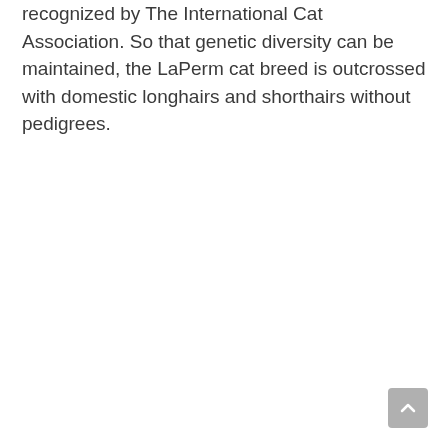recognized by The International Cat Association. So that genetic diversity can be maintained, the LaPerm cat breed is outcrossed with domestic longhairs and shorthairs without pedigrees.